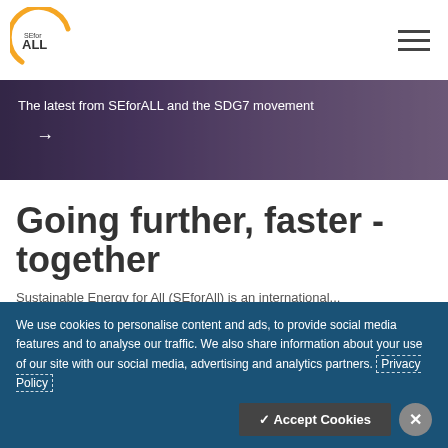[Figure (logo): SEforALL logo: circular arc in yellow/gold around text 'SEfor ALL']
[Figure (photo): Banner image showing a crowd of people at an event, overlaid with text 'The latest from SEforALL and the SDG7 movement' and a right arrow]
Going further, faster - together
Sustainable Energy for All (SEforAll) is an international...
We use cookies to personalise content and ads, to provide social media features and to analyse our traffic. We also share information about your use of our site with our social media, advertising and analytics partners. Privacy Policy
✓ Accept Cookies